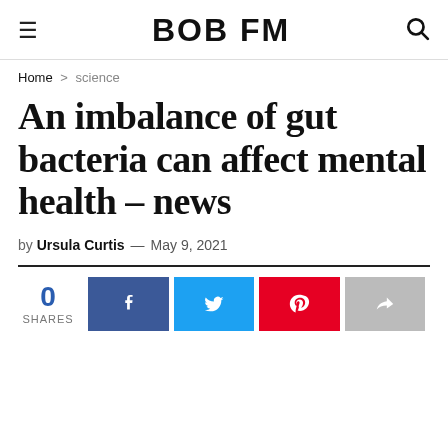BOB FM
Home > science
An imbalance of gut bacteria can affect mental health – news
by Ursula Curtis — May 9, 2021
0 SHARES